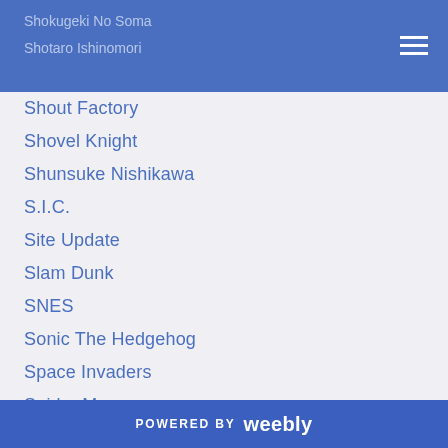Shokugeki No Soma
Shotaro Ishinomori
Shout Factory
Shovel Knight
Shunsuke Nishikawa
S.I.C.
Site Update
Slam Dunk
SNES
Sonic The Hedgehog
Space Invaders
Spider Man
Spider-Man
Squid Girl
Stage Play
Stan Lee
Star Fox
Star Wars
Story Of Seasons
POWERED BY weebly